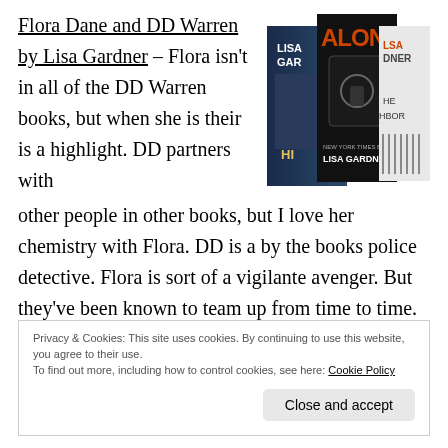Flora Dane and DD Warren by Lisa Gardner – Flora isn't in all of the DD Warren books, but when she is their is a highlight. DD partners with other people in other books, but I love her chemistry with Flora. DD is a by the books police detective. Flora is sort of a vigilante avenger. But they've been known to team up from time to time.
[Figure (photo): Book covers for Lisa Gardner novels including 'Alone' and others]
Privacy & Cookies: This site uses cookies. By continuing to use this website, you agree to their use. To find out more, including how to control cookies, see here: Cookie Policy